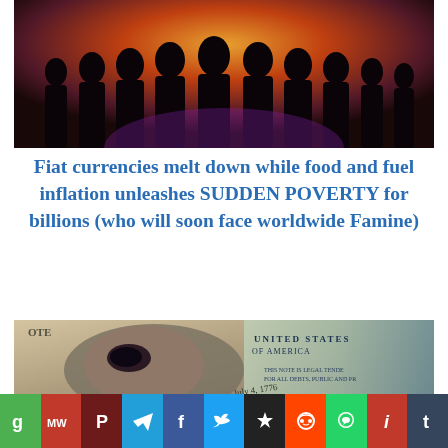[Figure (photo): Dark silhouettes of a crowd of people standing against a warm orange and red glowing background]
Fiat currencies melt down while food and fuel inflation unleashes SUDDEN POVERTY for billions (who will soon face worldwide Famine)
[Figure (photo): Close-up of a US $100 bill featuring Benjamin Franklin with a black eye bruise, overlaid with another bill showing 'UNITED STATES OF AMERICA' text]
g MW P [Telegram] f [Twitter] * [Reddit] [WhatsApp] i t